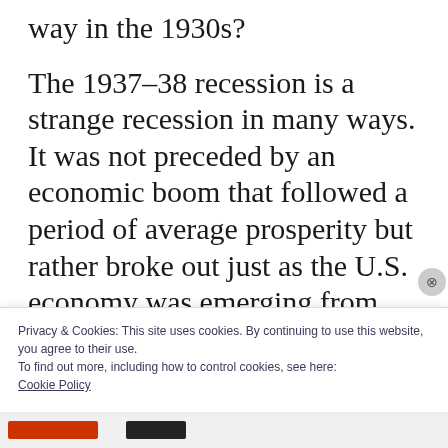way in the 1930s?
The 1937–38 recession is a strange recession in many ways. It was not preceded by an economic boom that followed a period of average prosperity but rather broke out just as the U.S. economy was emerging from the worst crisis-depression cycle in its entire history. And then, just as the economy was on the borderline between depression and average prosperity, a deep recession—no
Privacy & Cookies: This site uses cookies. By continuing to use this website, you agree to their use.
To find out more, including how to control cookies, see here:
Cookie Policy
Close and accept